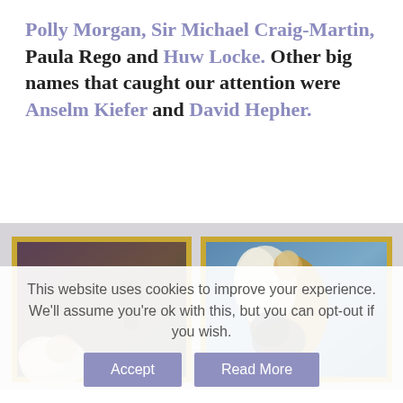Polly Morgan, Sir Michael Craig-Martin, Paula Rego and Huw Locke. Other big names that caught our attention were Anselm Kiefer and David Hepher.
[Figure (photo): Two framed paintings displayed on a white gallery wall. Left painting shows a dark-toned scene with an angel figure with wings in a landscape. Right painting shows an angel in golden robes against a blue background interacting with a crouching figure.]
This website uses cookies to improve your experience. We'll assume you're ok with this, but you can opt-out if you wish. Accept Read More